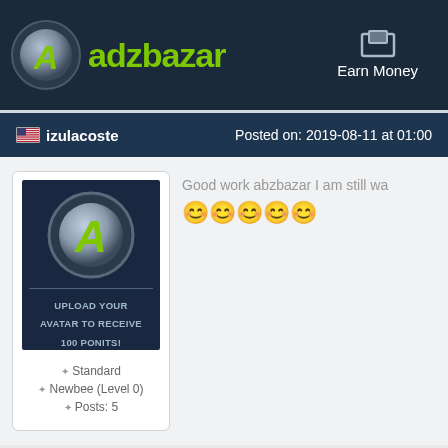adzbazar  Earn Money
izulacoste  Posted on: 2019-08-11 at 01:00
[Figure (screenshot): Avatar placeholder image with adzbazar logo (green A on dark circle) and text 'Upload Your Avatar to Receive 100 Ponits!']
Standard
Newbee (Level 0)
Posts: 5
Good work abzbazar I am still wa 😊😊😊😊😊
Mani1411  Posted on: 2019-09-13 at 09:36